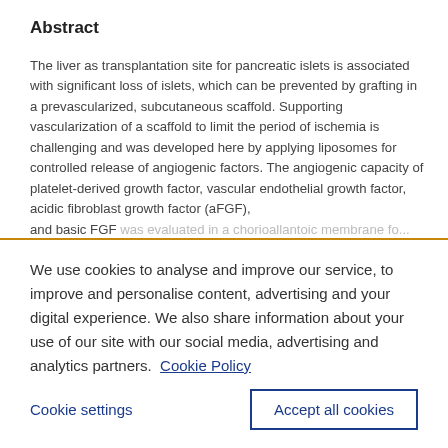Abstract
The liver as transplantation site for pancreatic islets is associated with significant loss of islets, which can be prevented by grafting in a prevascularized, subcutaneous scaffold. Supporting vascularization of a scaffold to limit the period of ischemia is challenging and was developed here by applying liposomes for controlled release of angiogenic factors. The angiogenic capacity of platelet-derived growth factor, vascular endothelial growth factor, acidic fibroblast growth factor (aFGF), and basic FGF was evaluated in a chorioallantoic membrane assay.
We use cookies to analyse and improve our service, to improve and personalise content, advertising and your digital experience. We also share information about your use of our site with our social media, advertising and analytics partners.  Cookie Policy
Cookie settings
Accept all cookies